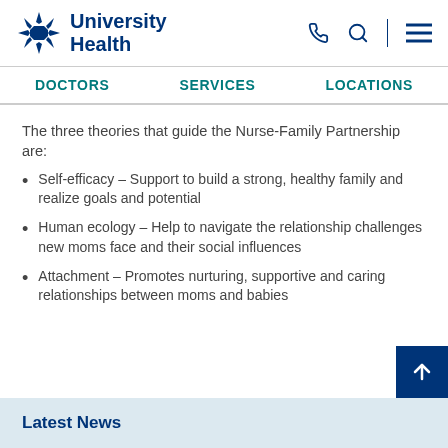University Health
DOCTORS   SERVICES   LOCATIONS
The three theories that guide the Nurse-Family Partnership are:
Self-efficacy – Support to build a strong, healthy family and realize goals and potential
Human ecology – Help to navigate the relationship challenges new moms face and their social influences
Attachment – Promotes nurturing, supportive and caring relationships between moms and babies
Latest News